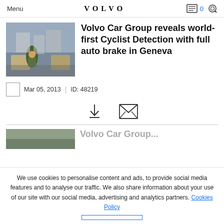Menu | VOLVO | 0 🔍
[Figure (photo): View from inside a car looking through windshield at a cyclist on a city street with buildings on both sides]
Volvo Car Group reveals world-first Cyclist Detection with full auto brake in Geneva
Mar 05, 2013 | ID: 48219
[Figure (other): Download icon and email/envelope icon]
[Figure (photo): Related article thumbnail image]
We use cookies to personalise content and ads, to provide social media features and to analyse our traffic. We also share information about your use of our site with our social media, advertising and analytics partners. Cookies Policy